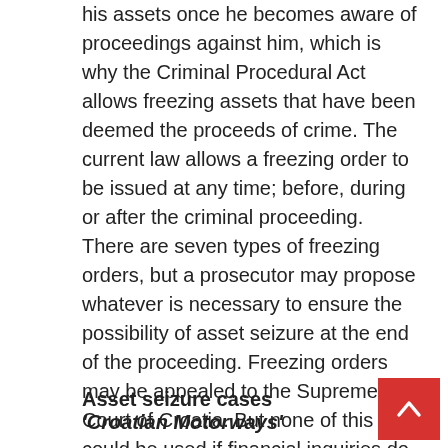his assets once he becomes aware of proceedings against him, which is why the Criminal Procedural Act allows freezing assets that have been deemed the proceeds of crime. The current law allows a freezing order to be issued at any time; before, during or after the criminal proceeding. There are seven types of freezing orders, but a prosecutor may propose whatever is necessary to ensure the possibility of asset seizure at the end of the proceeding. Freezing orders may be appealed to the Supreme Court of Croatia. But none of this could be used if financial inquiries do not begin shortly after inquiries into a criminal offense are initiated. Croatian criminal law also allows for non-conviction-based confiscation in cases when the defendant dies before the end of a trial.
Asset seizure cases 'Croatian Motorways'